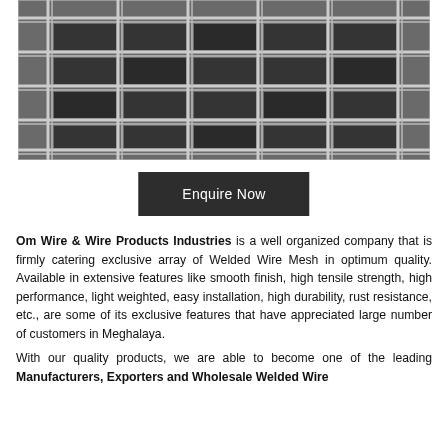[Figure (photo): Close-up photograph of welded wire mesh showing a grid pattern of metallic wires, with rectangular openings, in silver/gray tones.]
Enquire Now
Om Wire & Wire Products Industries is a well organized company that is firmly catering exclusive array of Welded Wire Mesh in optimum quality. Available in extensive features like smooth finish, high tensile strength, high performance, light weighted, easy installation, high durability, rust resistance, etc., are some of its exclusive features that have appreciated large number of customers in Meghalaya.
With our quality products, we are able to become one of the leading Manufacturers, Exporters and Wholesale Welded Wire